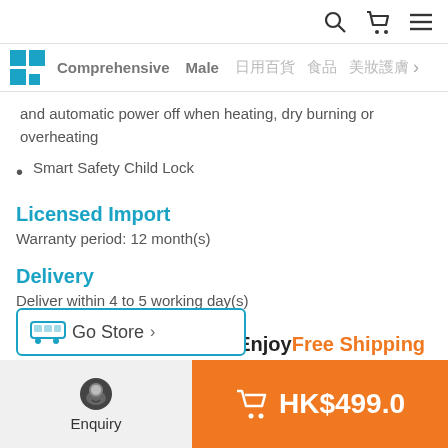Navigation bar with search, cart, and menu icons
Comprehensive | Male | (Chinese categories) >
and automatic power off when heating, dry burning or overheating
Smart Safety Child Lock
Licensed Import
Warranty period: 12 month(s)
Delivery
Deliver within 4 to 5 working day(s)
Purchase Exceed $150 Enjoy Free Shipping
Go Store →
Enquiry | HK$499.0